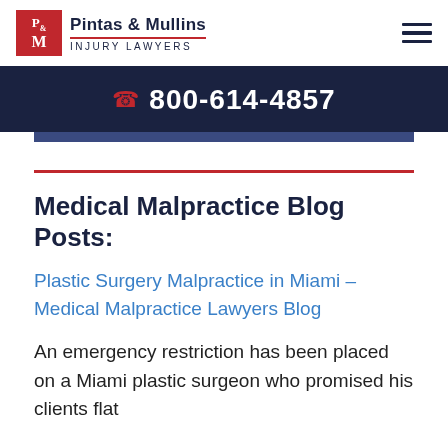Pintas & Mullins INJURY LAWYERS
800-614-4857
Medical Malpractice Blog Posts:
Plastic Surgery Malpractice in Miami – Medical Malpractice Lawyers Blog
An emergency restriction has been placed on a Miami plastic surgeon who promised his clients flat